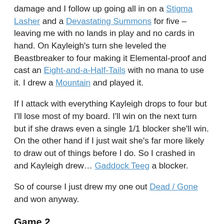damage and I follow up going all in on a Stigma Lasher and a Devastating Summons for five – leaving me with no lands in play and no cards in hand. On Kayleigh's turn she leveled the Beastbreaker to four making it Elemental-proof and cast an Eight-and-a-Half-Tails with no mana to use it. I drew a Mountain and played it.
If I attack with everything Kayleigh drops to four but I'll lose most of my board. I'll win on the next turn but if she draws even a single 1/1 blocker she'll win. On the other hand if I just wait she's far more likely to draw out of things before I do. So I crashed in and Kayleigh drew… Gaddock Teeg a blocker.
So of course I just drew my one out Dead / Gone and won anyway.
Game 2
The next game plays out similarly with a less flashy end. Kayleigh's down to 3 with a top of 3 Beholding her last...